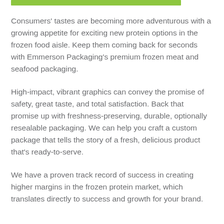[Figure (other): Green horizontal bar/stripe at top of page]
Consumers' tastes are becoming more adventurous with a growing appetite for exciting new protein options in the frozen food aisle. Keep them coming back for seconds with Emmerson Packaging's premium frozen meat and seafood packaging.
High-impact, vibrant graphics can convey the promise of safety, great taste, and total satisfaction. Back that promise up with freshness-preserving, durable, optionally resealable packaging. We can help you craft a custom package that tells the story of a fresh, delicious product that's ready-to-serve.
We have a proven track record of success in creating higher margins in the frozen protein market, which translates directly to success and growth for your brand.